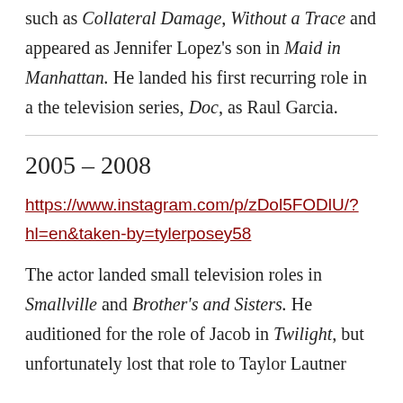such as Collateral Damage, Without a Trace and appeared as Jennifer Lopez's son in Maid in Manhattan. He landed his first recurring role in a the television series, Doc, as Raul Garcia.
2005 – 2008
https://www.instagram.com/p/zDol5FODlU/?hl=en&taken-by=tylerposey58
The actor landed small television roles in Smallville and Brother's and Sisters. He auditioned for the role of Jacob in Twilight, but unfortunately lost that role to Taylor Lautner